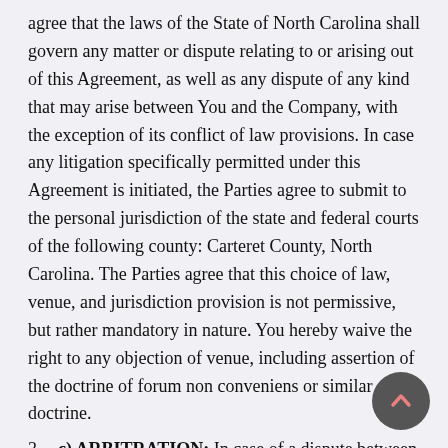agree that the laws of the State of North Carolina shall govern any matter or dispute relating to or arising out of this Agreement, as well as any dispute of any kind that may arise between You and the Company, with the exception of its conflict of law provisions. In case any litigation specifically permitted under this Agreement is initiated, the Parties agree to submit to the personal jurisdiction of the state and federal courts of the following county: Carteret County, North Carolina. The Parties agree that this choice of law, venue, and jurisdiction provision is not permissive, but rather mandatory in nature. You hereby waive the right to any objection of venue, including assertion of the doctrine of forum non conveniens or similar doctrine.
3. c) ARBITRATION: In case of a dispute between the Parties relating to or arising out of this Agreement, the Parties shall first attempt to resolve the dispute personally and in good faith. If those personal